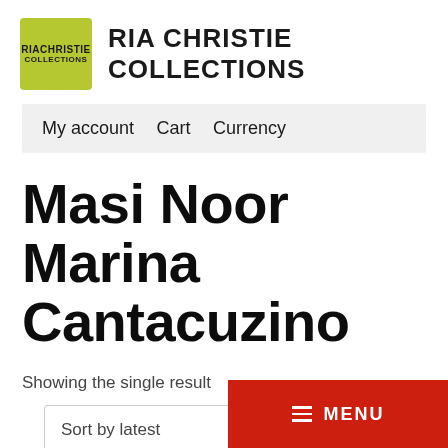RIA CHRISTIE COLLECTIONS
My account   Cart   Currency
Masi Noor Marina Cantacuzino
Showing the single result
Sort by latest
≡ MENU